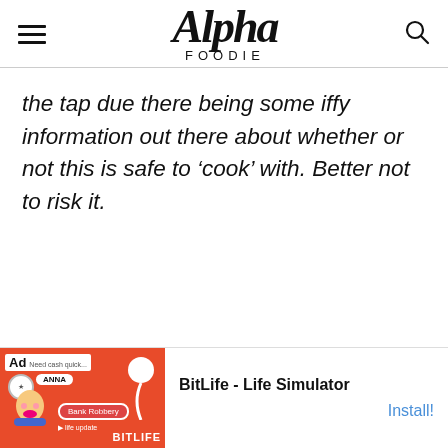Alpha Foodie
the tap due there being some iffy information out there about whether or not this is safe to ‘cook’ with. Better not to risk it.
[Figure (screenshot): Advertisement banner for BitLife - Life Simulator mobile game, with orange graphic on left and Install button on right.]